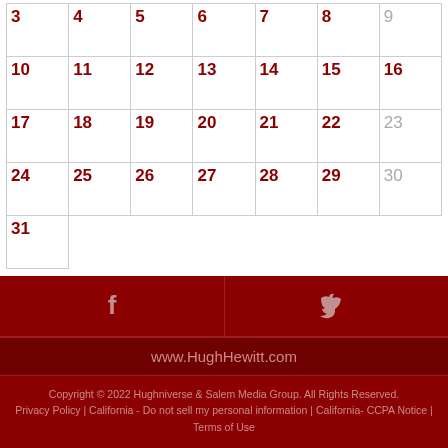| 3 | 4 | 5 | 6 | 7 | 8 | 9 |
| 10 | 11 | 12 | 13 | 14 | 15 | 16 |
| 17 | 18 | 19 | 20 | 21 | 22 | 23 |
| 24 | 25 | 26 | 27 | 28 | 29 | 30 |
| 31 |  |  |  |  |  |  |
[Figure (infographic): Facebook and Twitter social media icons in two columns on dark red background]
www.HughHewitt.com
Copyright © 2022 Hughniverse & Salem Media Group. All Rights Reserved.
Privacy Policy | California - Do not sell my personal information | California- CCPA Notice | Terms of Use